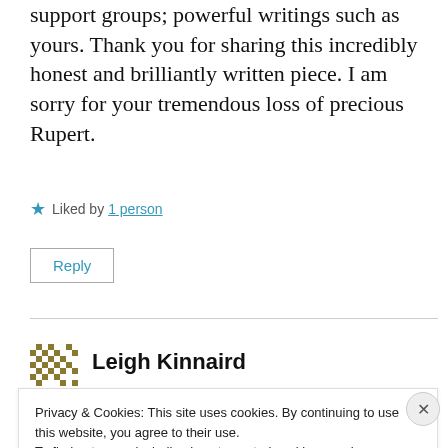support groups; powerful writings such as yours. Thank you for sharing this incredibly honest and brilliantly written piece. I am sorry for your tremendous loss of precious Rupert.
★ Liked by 1 person
Reply
Leigh Kinnaird
Privacy & Cookies: This site uses cookies. By continuing to use this website, you agree to their use.
To find out more, including how to control cookies, see here:
Cookie Policy
Close and accept